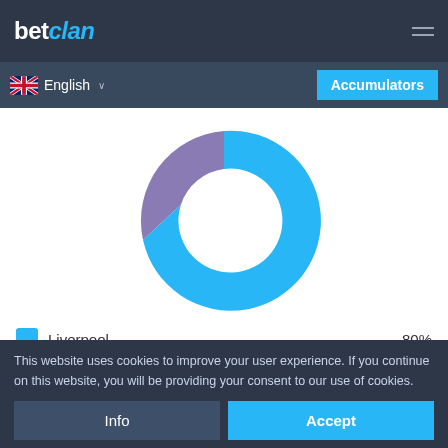betclan
English
Accumulators
[Figure (donut-chart): Donut chart]
Liverpool  80%
Wolverhampton  15%
This website uses cookies to improve your user experience. If you continue on this website, you will be providing your consent to our use of cookies.
Info
Accept